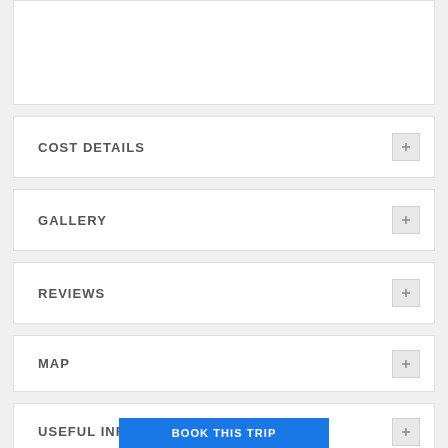COST DETAILS
GALLERY
REVIEWS
MAP
USEFUL INFO
BOOK THIS TRIP